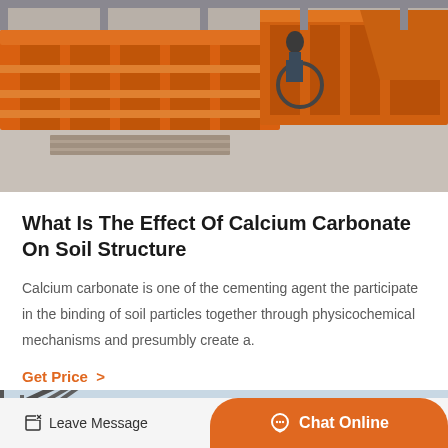[Figure (photo): Industrial orange mining or crushing equipment in a warehouse/factory setting, with a person visible in the background]
What Is The Effect Of Calcium Carbonate On Soil Structure
Calcium carbonate is one of the cementing agent the participate in the binding of soil particles together through physicochemical mechanisms and presumbly create a.
Get Price >
[Figure (photo): Industrial conveyor or walkway structure with green trees and sky in the background]
Leave Message
Chat Online